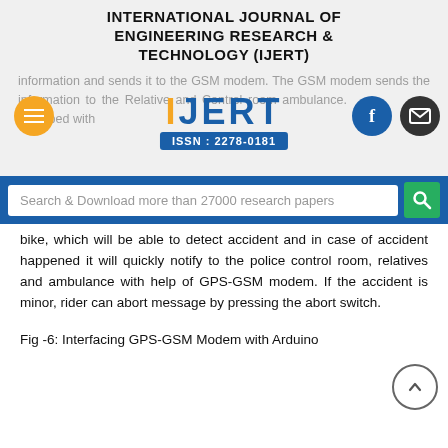INTERNATIONAL JOURNAL OF ENGINEERING RESEARCH & TECHNOLOGY (IJERT)
[Figure (logo): IJERT logo with ISSN: 2278-0181, overlaid on faded background text about GSM modem and ambulance, with orange hamburger menu button on left, Facebook and email icon buttons on right]
[Figure (screenshot): Search bar reading 'Search & Download more than 27000 research papers' with a green search icon button, on a blue background]
bike, which will be able to detect accident and in case of accident happened it will quickly notify to the police control room, relatives and ambulance with help of GPS-GSM modem. If the accident is minor, rider can abort message by pressing the abort switch.
Fig -6: Interfacing GPS-GSM Modem with Arduino